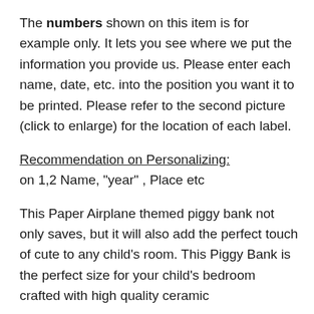The numbers shown on this item is for example only. It lets you see where we put the information you provide us. Please enter each name, date, etc. into the position you want it to be printed. Please refer to the second picture (click to enlarge) for the location of each label.
Recommendation on Personalizing: on 1,2 Name, "year" , Place etc
This Paper Airplane themed piggy bank not only saves, but it will also add the perfect touch of cute to any child's room. This Piggy Bank is the perfect size for your child's bedroom crafted with high quality ceramic